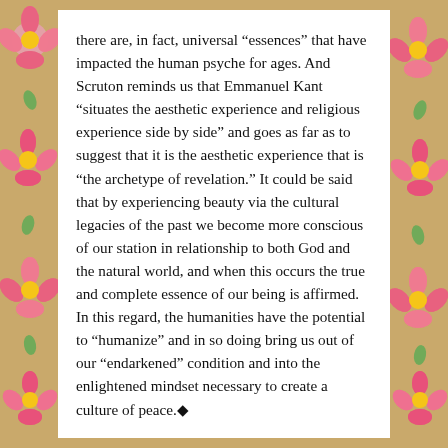there are, in fact, universal “essences” that have impacted the human psyche for ages. And Scruton reminds us that Emmanuel Kant “situates the aesthetic experience and religious experience side by side” and goes as far as to suggest that it is the aesthetic experience that is “the archetype of revelation.” It could be said that by experiencing beauty via the cultural legacies of the past we become more conscious of our station in relationship to both God and the natural world, and when this occurs the true and complete essence of our being is affirmed. In this regard, the humanities have the potential to “humanize” and in so doing bring us out of our “endarkened” condition and into the enlightened mindset necessary to create a culture of peace.◆